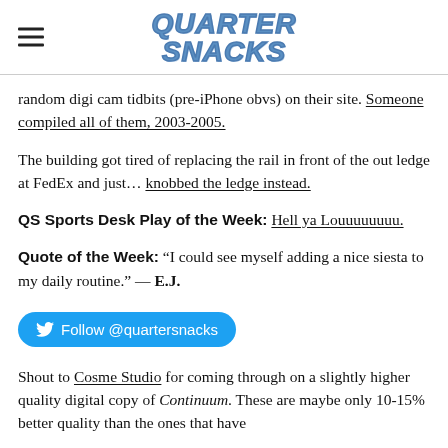Quarter Snacks
random digi cam tidbits (pre-iPhone obvs) on their site. Someone compiled all of them, 2003-2005.
The building got tired of replacing the rail in front of the out ledge at FedEx and just… knobbed the ledge instead.
QS Sports Desk Play of the Week: Hell ya Louuuuuuuu.
Quote of the Week: “I could see myself adding a nice siesta to my daily routine.” — E.J.
[Figure (other): Twitter follow button: Follow @quartersnacks]
Shout to Cosme Studio for coming through on a slightly higher quality digital copy of Continuum. These are maybe only 10-15% better quality than the ones that have